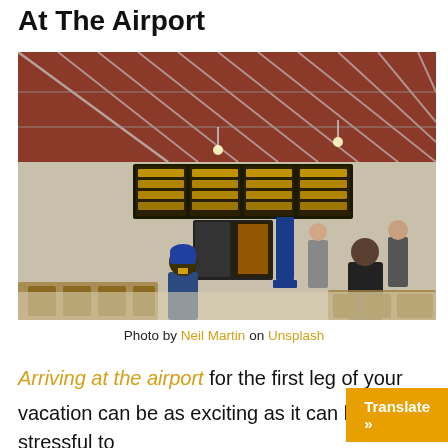At The Airport
[Figure (photo): Interior of a large train/airport terminal with high arched roof, yellow departure boards, people walking and sitting, ticket kiosks visible in the center.]
Photo by Neil Martin on Unsplash
Arriving at the airport for the first leg of your vacation can be as exciting as it can be stressful to your back. Standing in long security li...
Translate »